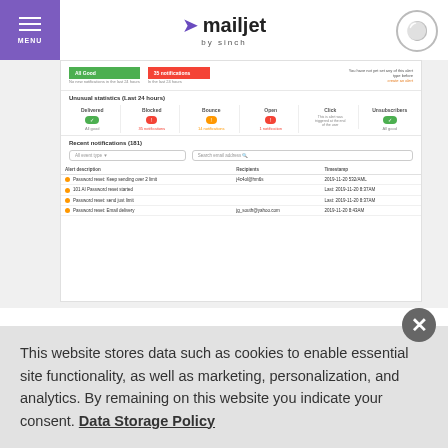MENU | mailjet by sinch | [globe icon]
[Figure (screenshot): Mailjet Real-Time Monitoring dashboard screenshot showing status indicators (All Good, 35 notifications), Unusual Statistics for Delivered, Blocked, Bounce, Open, Click, Unsubscribes, and Recent notifications table with alert entries]
Real-Time Monitoring also allows you to identify what type of transactional emails didn't get send, so you can set specific
This website stores data such as cookies to enable essential site functionality, as well as marketing, personalization, and analytics. By remaining on this website you indicate your consent. Data Storage Policy